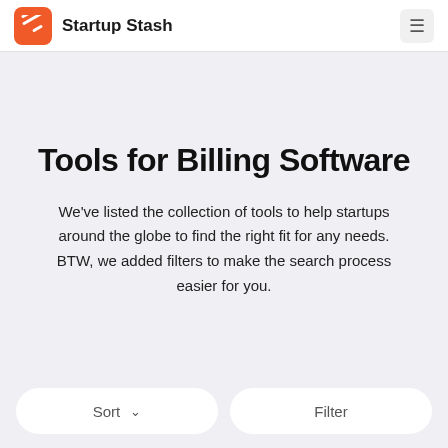Startup Stash
Tools for Billing Software
We've listed the collection of tools to help startups around the globe to find the right fit for any needs. BTW, we added filters to make the search process easier for you.